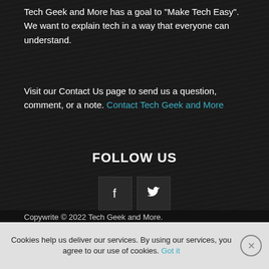Tech Geek and More has a goal to "Make Tech Easy". We want to explain tech in a way that everyone can understand.
Visit our Contact Us page to send us a question, comment, or a note. Contact Tech Geek and More
FOLLOW US
[Figure (infographic): Social media icons: Facebook (f) and Twitter (bird) as dark square buttons]
Copywrite © 2022 Tech Geek and More.
Tech Geek and More – Contact
Cookies help us deliver our services. By using our services, you agree to our use of cookies. Got it